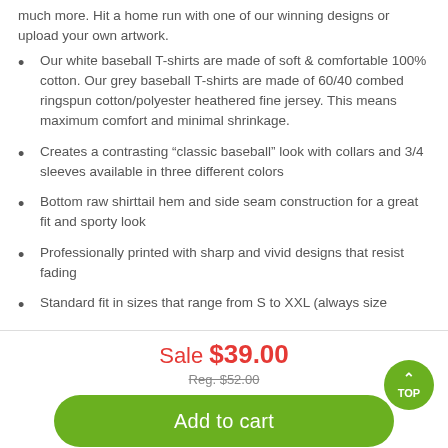much more. Hit a home run with one of our winning designs or upload your own artwork.
Our white baseball T-shirts are made of soft & comfortable 100% cotton. Our grey baseball T-shirts are made of 60/40 combed ringspun cotton/polyester heathered fine jersey. This means maximum comfort and minimal shrinkage.
Creates a contrasting “classic baseball” look with collars and 3/4 sleeves available in three different colors
Bottom raw shirttail hem and side seam construction for a great fit and sporty look
Professionally printed with sharp and vivid designs that resist fading
Standard fit in sizes that range from S to XXL (always size
Sale $39.00
Reg. $52.00
Add to cart